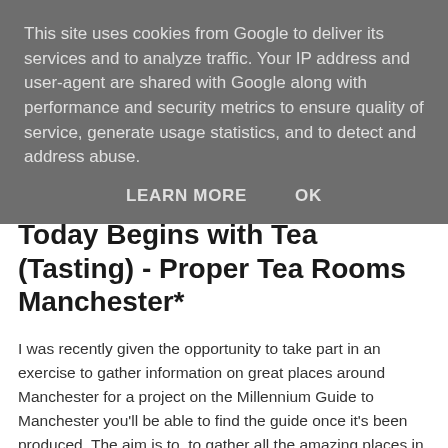This site uses cookies from Google to deliver its services and to analyze traffic. Your IP address and user-agent are shared with Google along with performance and security metrics to ensure quality of service, generate usage statistics, and to detect and address abuse.
LEARN MORE   OK
Today Begins with Tea (Tasting) - Proper Tea Rooms Manchester*
I was recently given the opportunity to take part in an exercise to gather information on great places around Manchester for a project on the Millennium Guide to Manchester you'll be able to find the guide once it's been produced. The aim is to  to gather all the amazing places in Manchester and have the details all in once place.
I love tea and I'm gradually working my way round all the tea rooms and cafes in Manchester, when Joe Bloggs contacted me to see if I wanted to take part I didn't hesitate and said I